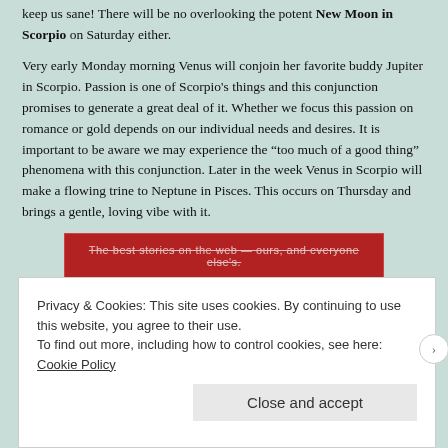keep us sane! There will be no overlooking the potent New Moon in Scorpio on Saturday either.
Very early Monday morning Venus will conjoin her favorite buddy Jupiter in Scorpio. Passion is one of Scorpio's things and this conjunction promises to generate a great deal of it. Whether we focus this passion on romance or gold depends on our individual needs and desires. It is important to be aware we may experience the “too much of a good thing” phenomena with this conjunction. Later in the week Venus in Scorpio will make a flowing trine to Neptune in Pisces. This occurs on Thursday and brings a gentle, loving vibe with it.
[Figure (other): Red advertisement banner with strikethrough text reading 'The best stories on the web — ours, and everyone else's.' with a 'REPORT THIS AD' label below.]
Privacy & Cookies: This site uses cookies. By continuing to use this website, you agree to their use.
To find out more, including how to control cookies, see here: Cookie Policy
Close and accept